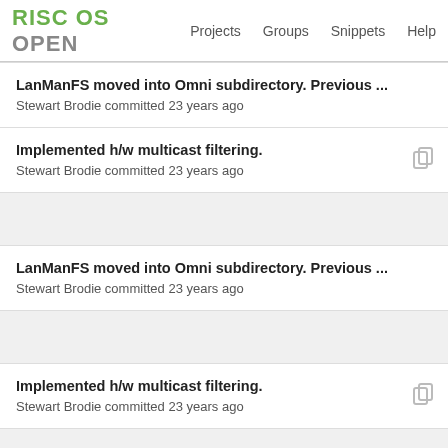RISC OS OPEN  Projects  Groups  Snippets  Help
LanManFS moved into Omni subdirectory. Previous ...
Stewart Brodie committed 23 years ago
Implemented h/w multicast filtering.
Stewart Brodie committed 23 years ago
LanManFS moved into Omni subdirectory. Previous ...
Stewart Brodie committed 23 years ago
Implemented h/w multicast filtering.
Stewart Brodie committed 23 years ago